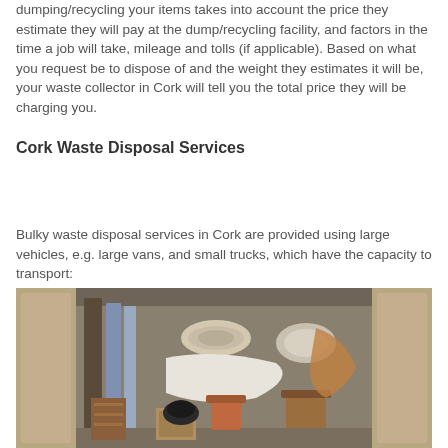dumping/recycling your items takes into account the price they estimate they will pay at the dump/recycling facility, and factors in the time a job will take, mileage and tolls (if applicable). Based on what you request be to dispose of and the weight they estimates it will be, your waste collector in Cork will tell you the total price they will be charging you.
Cork Waste Disposal Services
Bulky waste disposal services in Cork are provided using large vehicles, e.g. large vans, and small trucks, which have the capacity to transport:
[Figure (photo): A photo of the open rear doors of a large van loaded with bulky household items including rolled-up rugs/carpets, furniture pieces, a mattress frame, plant pots, a wooden bookshelf, and other miscellaneous items.]